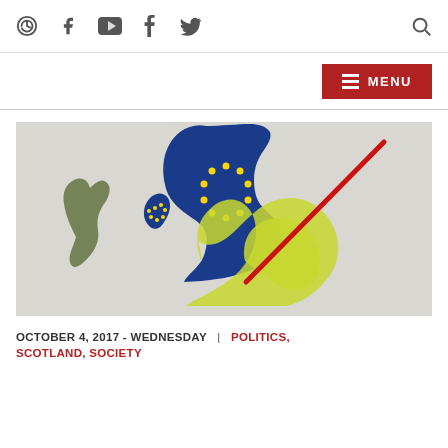Social media nav icons: link, facebook, youtube, tumblr, twitter, search
[Figure (screenshot): Red menu button with hamburger icon and MENU text]
[Figure (map): Illustrated map of the British Isles showing Scotland in blue with EU stars, England/Wales in yellow-green, Ireland in dark olive-green, with a red diagonal line cutting across]
OCTOBER 4, 2017 - WEDNESDAY | POLITICS, SCOTLAND, SOCIETY